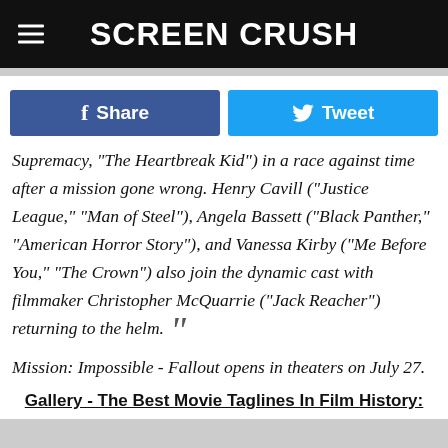SCREEN CRUSH
f Share   Tweet
Supremacy," "The Heartbreak Kid") in a race against time after a mission gone wrong. Henry Cavill ("Justice League," "Man of Steel"), Angela Bassett ("Black Panther," "American Horror Story"), and Vanessa Kirby ("Me Before You," "The Crown") also join the dynamic cast with filmmaker Christopher McQuarrie ("Jack Reacher") returning to the helm.
Mission: Impossible - Fallout opens in theaters on July 27.
Gallery - The Best Movie Taglines In Film History: